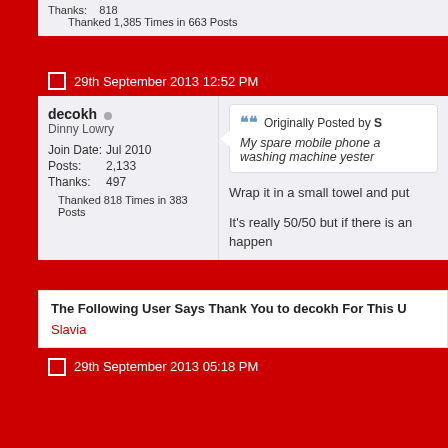Thanks: 818
Thanked 1,385 Times in 663 Posts
29th September 2013 12:52 PM
decokh
Dinny Lowry
Join Date: Jul 2010
Posts: 2,133
Thanks: 497
Thanked 818 Times in 383 Posts
Originally Posted by S
My spare mobile phone a washing machine yester
Wrap it in a small towel and put
It's really 50/50 but if there is an happen
The Following User Says Thank You to decokh For This U
Slavia
29th September 2013 05:18 PM